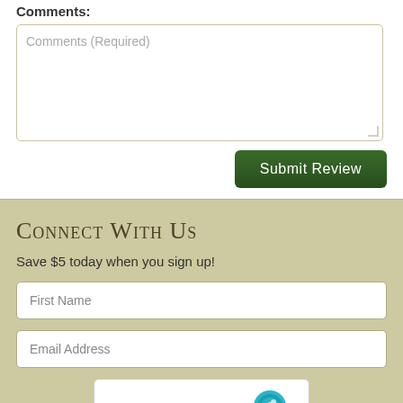Comments:
Comments (Required)
Submit Review
Connect With Us
Save $5 today when you sign up!
First Name
Email Address
I am human
hCaptcha
Privacy - Terms